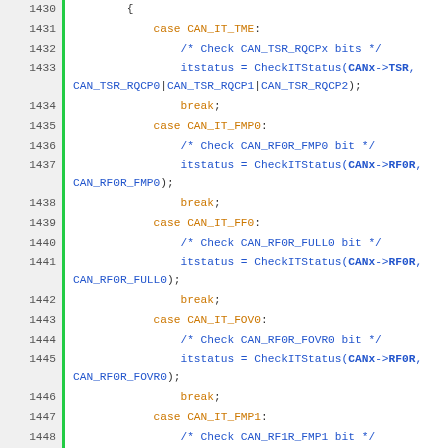[Figure (screenshot): Source code listing (C language) showing a switch-case block for CAN interrupt status checking, lines 1430-1457, with syntax highlighting in orange, blue, and gray on white background with green line-number gutter.]